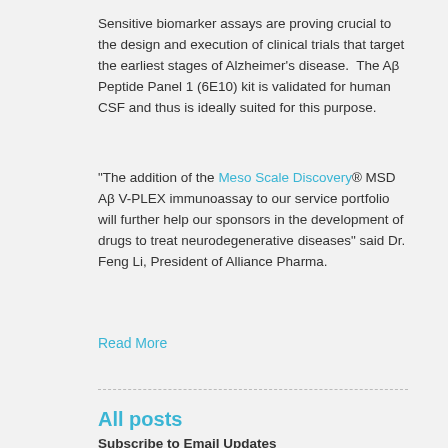Sensitive biomarker assays are proving crucial to the design and execution of clinical trials that target the earliest stages of Alzheimer's disease.  The Aβ Peptide Panel 1 (6E10) kit is validated for human CSF and thus is ideally suited for this purpose.
"The addition of the Meso Scale Discovery® MSD Aβ V-PLEX immunoassay to our service portfolio will further help our sponsors in the development of drugs to treat neurodegenerative diseases" said Dr. Feng Li, President of Alliance Pharma.
Read More
All posts
Subscribe to Email Updates